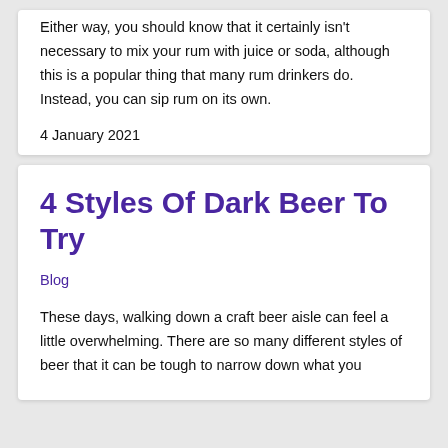Either way, you should know that it certainly isn't necessary to mix your rum with juice or soda, although this is a popular thing that many rum drinkers do. Instead, you can sip rum on its own.
4 January 2021
4 Styles Of Dark Beer To Try
Blog
These days, walking down a craft beer aisle can feel a little overwhelming. There are so many different styles of beer that it can be tough to narrow down what you